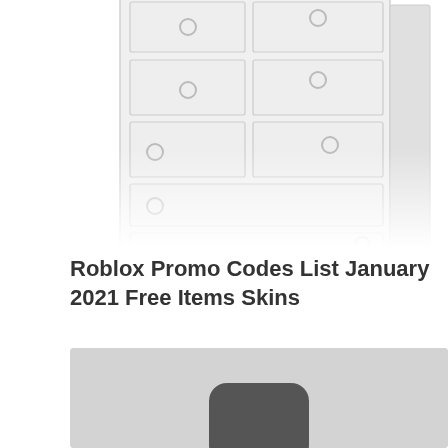[Figure (illustration): A white dresser/chest of drawers illustrated in light gray tones, partially cropped at the top, showing multiple drawers with circular handles, viewed at a slight angle.]
Roblox Promo Codes List January 2021 Free Items Skins
[Figure (photo): A gray background image showing what appears to be a dark rounded square/tablet object partially visible at the bottom center of the image, with a lighter gray background.]